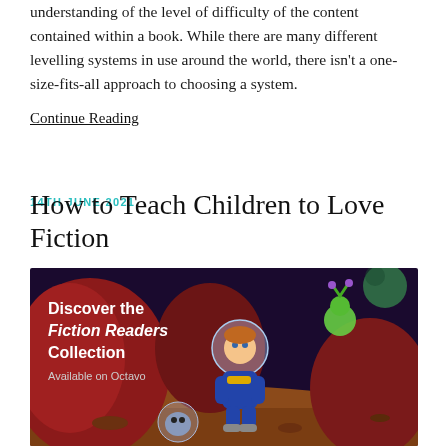understanding of the level of difficulty of the content contained within a book. While there are many different levelling systems in use around the world, there isn't a one-size-fits-all approach to choosing a system.
Continue Reading
14TH JUNE 2021
How to Teach Children to Love Fiction
[Figure (illustration): Illustrated book cover showing a child astronaut in a spacesuit on an alien planet with a green alien creature nearby, with text overlay: 'Discover the Fiction Readers Collection, Available on Octavo']